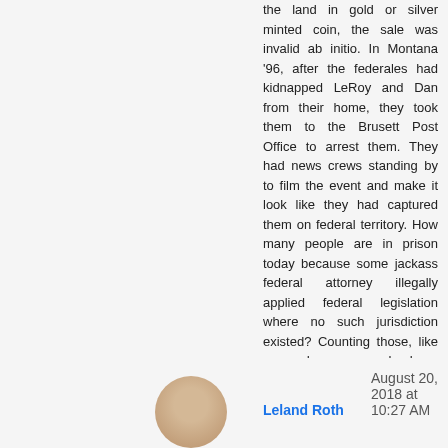the land in gold or silver minted coin, the sale was invalid ab initio. In Montana '96, after the federales had kidnapped LeRoy and Dan from their home, they took them to the Brusett Post Office to arrest them. They had news crews standing by to film the event and make it look like they had captured them on federal territory. How many people are in prison today because some jackass federal attorney illegally applied federal legislation where no such jurisdiction existed? Counting those, like me and my sons, who have since been released, the number is many, many millions! My friend, LeRoy Michael Schweitzer died in SuperMax. My friend, Walter, lost his wife in a federal prison. How many others are there? Far too many.

sorry. i'll get down off my soap box now. sometimes, i just can't help myself.
Leland Roth August 20, 2018 at 10:27 AM